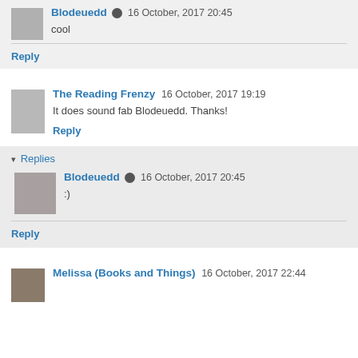Blodeuedd  16 October, 2017 20:45
cool
Reply
The Reading Frenzy  16 October, 2017 19:19
It does sound fab Blodeuedd. Thanks!
Reply
▾ Replies
Blodeuedd  16 October, 2017 20:45
:)
Reply
Melissa (Books and Things)  16 October, 2017 22:44